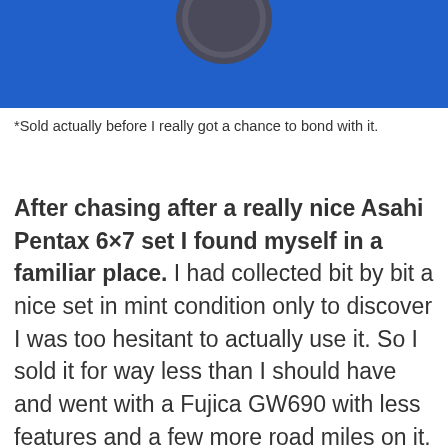[Figure (photo): Blue background photo with a dark coin/circular object partially visible at top center]
*Sold actually before I really got a chance to bond with it.
After chasing after a really nice Asahi Pentax 6×7 set I found myself in a familiar place. I had collected bit by bit a nice set in mint condition only to discover I was too hesitant to actually use it. So I sold it for way less than I should have and went with a Fujica GW690 with less features and a few more road miles on it. Turns out it was the right thing to do as I enjoy